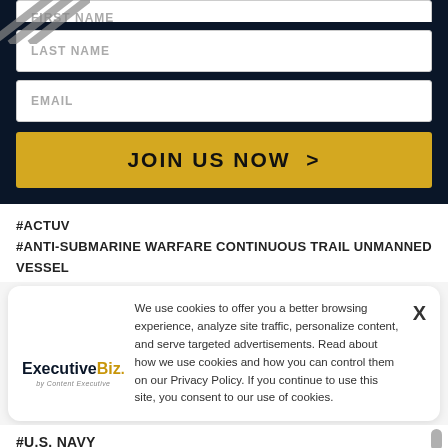[Figure (screenshot): Web form with LAST NAME and EMAIL fields on dark navy background, with a gold JOIN US NOW button]
#ACTUV
#ANTI-SUBMARINE WARFARE CONTINUOUS TRAIL UNMANNED VESSEL
[Figure (infographic): Cookie consent popup with ExecutiveBiz logo, privacy policy text, and X close button]
#U.S. NAVY